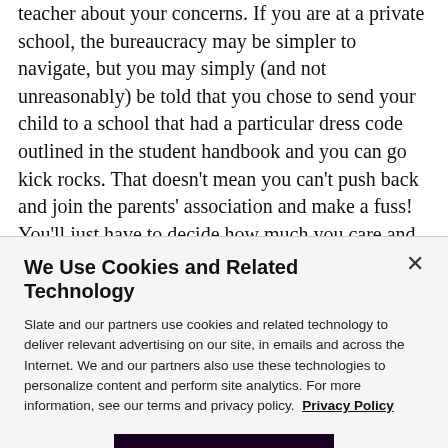teacher about your concerns. If you are at a private school, the bureaucracy may be simpler to navigate, but you may simply (and not unreasonably) be told that you chose to send your child to a school that had a particular dress code outlined in the student handbook and you can go kick rocks. That doesn't mean you can't push back and join the parents' association and make a fuss! You'll just have to decide how much you care and how you feel about how the code is or isn't enforced.
We Use Cookies and Related Technology
Slate and our partners use cookies and related technology to deliver relevant advertising on our site, in emails and across the Internet. We and our partners also use these technologies to personalize content and perform site analytics. For more information, see our terms and privacy policy. Privacy Policy
OK